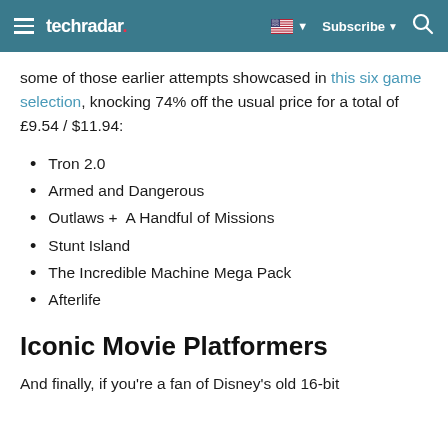techradar
some of those earlier attempts showcased in this six game selection, knocking 74% off the usual price for a total of £9.54 / $11.94:
Tron 2.0
Armed and Dangerous
Outlaws +  A Handful of Missions
Stunt Island
The Incredible Machine Mega Pack
Afterlife
Iconic Movie Platformers
And finally, if you're a fan of Disney's old 16-bit